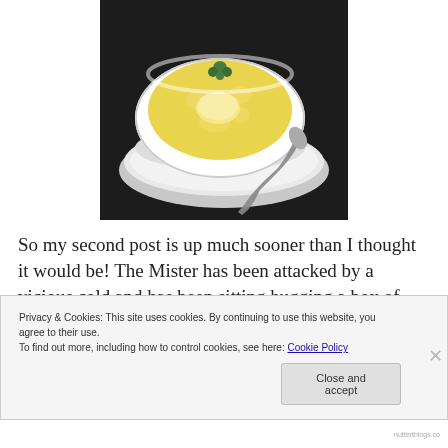[Figure (photo): A white bowl of creamy yellow soup garnished with fresh parsley, served on a white saucer with a silver spoon beside it, on a dark surface.]
So my second post is up much sooner than I thought it would be! The Mister has been attacked by a vicious cold and has been sitting hugging a box of tissues for the past
Privacy & Cookies: This site uses cookies. By continuing to use this website, you agree to their use.
To find out more, including how to control cookies, see here: Cookie Policy
Close and accept